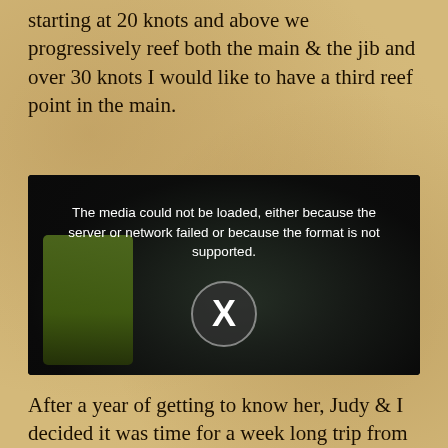starting at 20 knots and above we progressively reef both the main & the jib and over 30 knots I would like to have a third reef point in the main.
[Figure (screenshot): Video player showing a sailing cockpit scene with a person in a yellow life jacket. A media error overlay reads: 'The media could not be loaded, either because the server or network failed or because the format is not supported.' with an X button circle in the center.]
After a year of getting to know her, Judy & I decided it was time for a week long trip from Everett to Victoria, BC.  I had seen pictures of the Victoria harbor with the floating docks on the waterfront & was